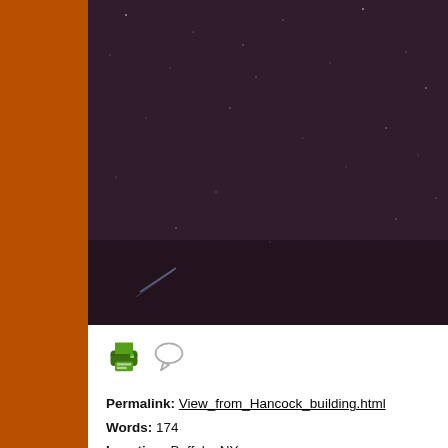[Figure (photo): Night sky photograph, dark purple-brown background with scattered faint stars and a slight streak of light in lower left corner.]
[Figure (other): Printer icon (green) and comment/speech bubble icon (grey outline) side by side.]
Permalink: View_from_Hancock_building.html
Words: 174
Location: Buffalo, NY
Last Modified: 12/09/21 02:01
12/09/21 01:23 - ID#60864
Solo wandering
Wednesday (e:paul) was working so I had time to wan